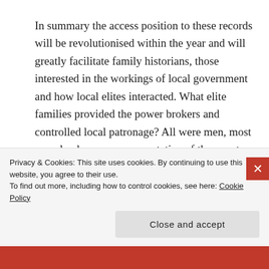In summary the access position to these records will be revolutionised within the year and will greatly facilitate family historians, those interested in the workings of local government and how local elites interacted. What elite families provided the power brokers and controlled local patronage? All were men, most were landowners, representative of the county families, and, of course, most were Protestant from the early 1700s and the enactment of the Penal
Privacy & Cookies: This site uses cookies. By continuing to use this website, you agree to their use.
To find out more, including how to control cookies, see here: Cookie Policy
Close and accept